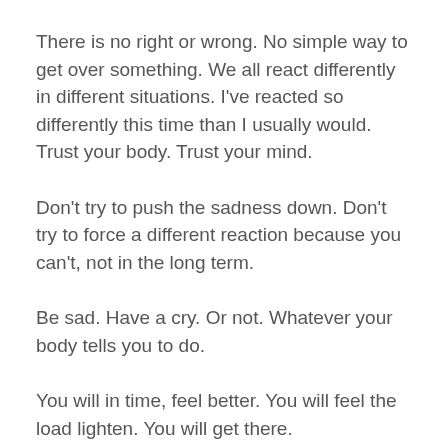There is no right or wrong. No simple way to get over something. We all react differently in different situations. I’ve reacted so differently this time than I usually would. Trust your body. Trust your mind.
Don’t try to push the sadness down. Don’t try to force a different reaction because you can’t, not in the long term.
Be sad. Have a cry. Or not. Whatever your body tells you to do.
You will in time, feel better. You will feel the load lighten. You will get there.